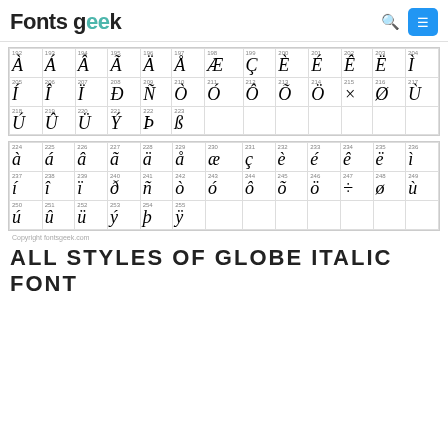Fonts Geek
| À 192 | Á 193 | Â 194 | Ã 195 | Ä 196 | Å 197 | Æ 198 | Ç 199 | È 200 | É 201 | Ê 202 | Ë 203 | Ì 204 |
| Í 205 | Î 206 | Ï 207 | Ð 208 | Ñ 209 | Ò 210 | Ó 211 | Ô 212 | Õ 213 | Ö 214 | × 215 | Ø 216 | Ù 217 |
| Ú 218 | Û 219 | Ü 220 | Ý 221 | Þ 222 | ß 223 |
| à 224 | á 225 | â 226 | ã 227 | ä 228 | å 229 | æ 230 | ç 231 | è 232 | é 233 | ê 234 | ë 235 | ì 236 |
| í 237 | î 238 | ï 239 | ð 240 | ñ 241 | ò 242 | ó 243 | ô 244 | õ 245 | ö 246 | ÷ 247 | ø 248 | ù 249 |
| ú 250 | û 251 | ü 252 | ý 253 | þ 254 | ÿ 255 |
Copyright fontsgeek.com
ALL STYLES OF GLOBE ITALIC FONT